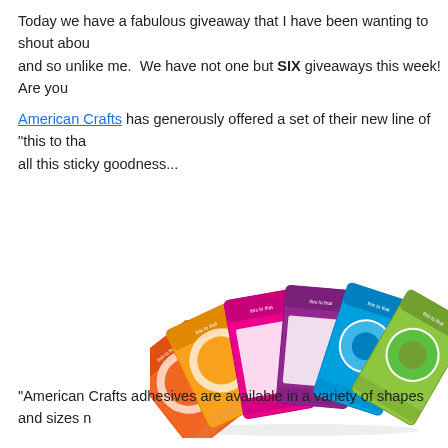Today we have a fabulous giveaway that I have been wanting to shout about and so unlike me.  We have not one but SIX giveaways this week!  Are you American Crafts has generously offered a set of their new line of "this to that" all this sticky goodness...
[Figure (photo): Fan arrangement of colorful American Crafts adhesive product packages including tape rolls, adhesive dots, and dispensers in orange, yellow, pink, purple, blue, and green packaging]
"American Crafts adhesives are available in a variety of shapes and sizes n